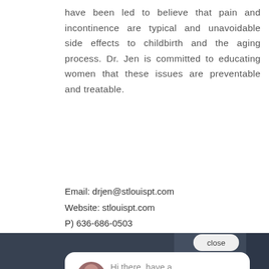have been led to believe that pain and incontinence are typical and unavoidable side effects to childbirth and the aging process. Dr. Jen is committed to educating women that these issues are preventable and treatable.
Email: drjen@stlouispt.com
Website: stlouispt.com
P) 636-686-0503
[Figure (screenshot): Website screenshot showing a chat popup with a woman's avatar photo and message 'Hi there, have a question? Text us here.' with a close button, overlaid on an image showing weights/barbells with 'STL ACTIVE' text and a blue chat button in the bottom right]